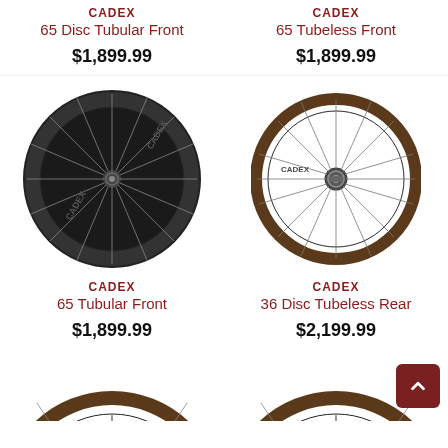CADEX
65 Disc Tubular Front
$1,899.99
CADEX
65 Tubeless Front
$1,899.99
[Figure (photo): CADEX 65 Tubular Front road bicycle wheel, carbon rim, deep section]
CADEX
65 Tubular Front
$1,899.99
[Figure (photo): CADEX 36 Disc Tubeless Rear road bicycle wheel, thinner rim]
CADEX
36 Disc Tubeless Rear
$2,199.99
[Figure (photo): Partial bottom-left wheel image cropped]
[Figure (photo): Partial bottom-right wheel image cropped]